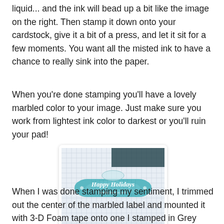liquid... and the ink will bead up a bit like the image on the right. Then stamp it down onto your cardstock, give it a bit of a press, and let it sit for a few moments. You want all the misted ink to have a chance to really sink into the paper.
When you're done stamping you'll have a lovely marbled color to your image. Just make sure you work from lightest ink color to darkest or you'll ruin your pad!
[Figure (photo): A teal/blue decorative label stamp with 'Happy Holidays' text, placed on a white grid paper background with some craft supplies visible.]
When I was done stamping my sentiment, I trimmed out the center of the marbled label and mounted it with 3-D Foam tape onto one I stamped in Grey Wool onto the tag I cut with